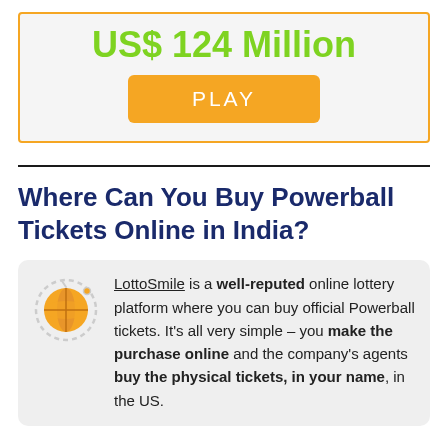[Figure (infographic): Promotional box with orange border showing prize amount 'US$ 124 Million' in green and an orange PLAY button]
Where Can You Buy Powerball Tickets Online in India?
LottoSmile is a well-reputed online lottery platform where you can buy official Powerball tickets. It's all very simple – you make the purchase online and the company's agents buy the physical tickets, in your name, in the US.